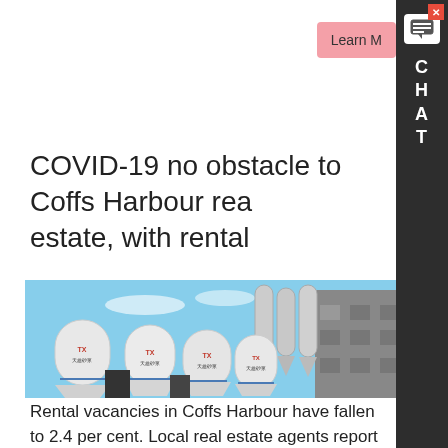COVID-19 no obstacle to Coffs Harbour real estate, with rental
[Figure (photo): Industrial silos and a large grey building photographed from a low angle against a blue sky. Multiple white cylindrical silos with blue bands are labeled TX in Chinese characters.]
Rental vacancies in Coffs Harbour have fallen to 2.4 per cent. Local real estate agents report strong. At the same